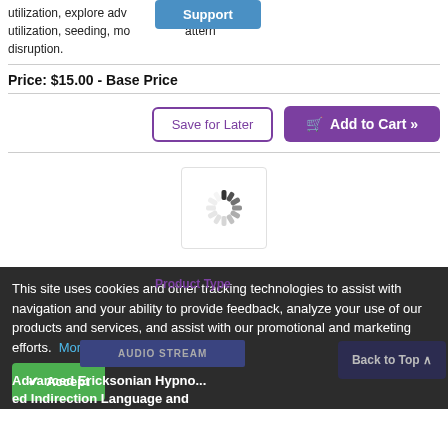utilization, explore adv... des of utilization, seeding, mo... attern disruption.
Price: $15.00 - Base Price
Save for Later
Add to Cart »
[Figure (other): Loading spinner icon inside a white box with border]
This site uses cookies and other tracking technologies to assist with navigation and your ability to provide feedback, analyze your use of our products and services, and assist with our promotional and marketing efforts. More Information
Accept
Product Type
AUDIO STREAM
Back to Top
vanced Ericksonian Hypno... ed Indirection Language and ...